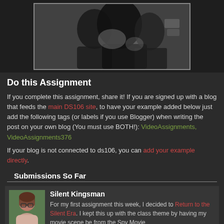[Figure (photo): Black and white photo of people in dark clothing, partially visible at top of page]
Do this Assignment
If you complete this assignment, share it! If you are signed up with a blog that feeds the main DS106 site, to have your example added below just add the following tags (or labels if you use Blogger) when writing the post on your own blog (You must use BOTH!): VideoAssignments, VideoAssignments376
If your blog is not connected to ds106, you can add your example directly.
Submissions So Far
[Figure (photo): Avatar photo of a young woman with glasses]
Silent Kingsman
For my first assignment this week, I decided to Return to the Silent Era. I kept this up with the class theme by having my movie scene be from the Spy Movie